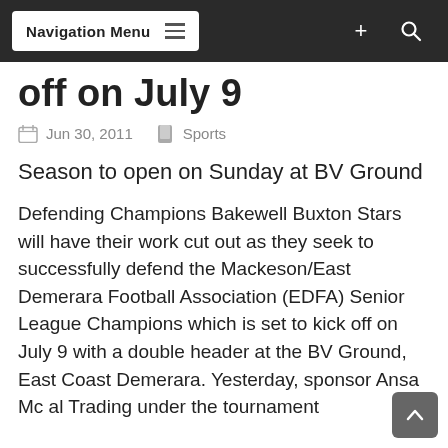Navigation Menu
off on July 9
Jun 30, 2011  Sports
Season to open on Sunday at BV Ground
Defending Champions Bakewell Buxton Stars will have their work cut out as they seek to successfully defend the Mackeson/East Demerara Football Association (EDFA) Senior League Champions which is set to kick off on July 9 with a double header at the BV Ground, East Coast Demerara. Yesterday, sponsor Ansa Mc al Trading under the tournament